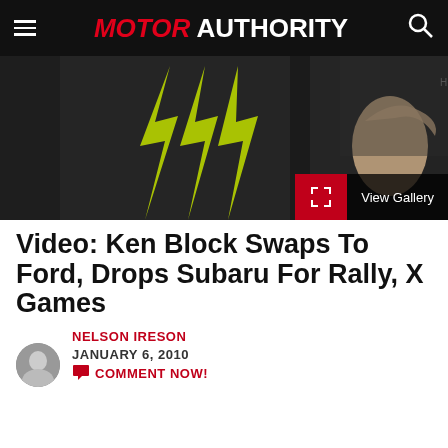MOTOR AUTHORITY
[Figure (photo): Person wearing a black Monster Energy jacket, pointing finger, dark background]
Video: Ken Block Swaps To Ford, Drops Subaru For Rally, X Games
NELSON IRESON
JANUARY 6, 2010
COMMENT NOW!